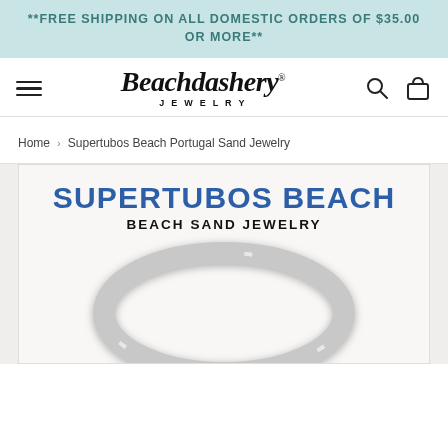**FREE SHIPPING ON ALL DOMESTIC ORDERS OF $35.00 OR MORE**
[Figure (logo): Beachdashery Jewelry logo with script font and registered trademark symbol, flanked by hamburger menu, search icon, and bag icon]
Home › Supertubos Beach Portugal Sand Jewelry
[Figure (photo): Product image showing SUPERTUBOS BEACH BEACH SAND JEWELRY text over a light background with a silver bangle ring in the foreground]